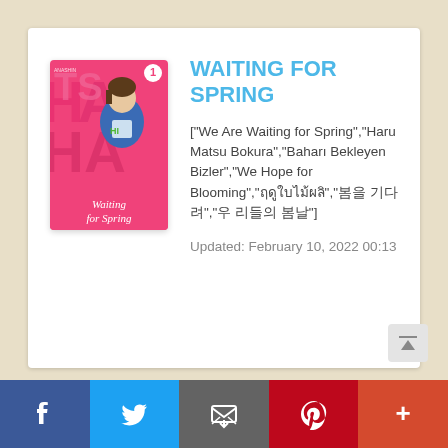[Figure (illustration): Book cover for 'Waiting for Spring' manga volume 1, showing an anime-style young man in a blue jacket against a pink background with large text 'HEARTS', 'HI', 'HA' visible, and 'Waiting for Spring' text at the bottom.]
WAITING FOR SPRING
["We Are Waiting for Spring","Haru Matsu Bokura","Baharı Bekleyen Bizler","We Hope for Blooming","ฤดูใบไม้ผลิ","봄을 기다려","우 리들의 봄날"]
Updated: February 10, 2022 00:13
f  twitter  email  p  +